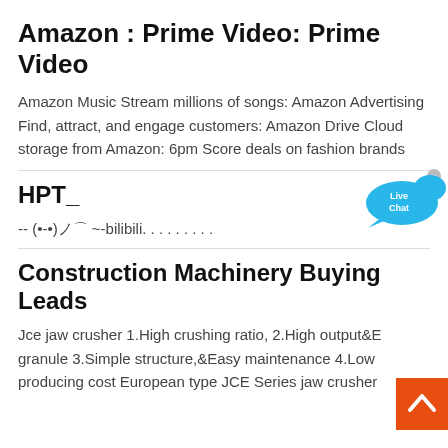Amazon : Prime Video: Prime Video
Amazon Music Stream millions of songs: Amazon Advertising Find, attract, and engage customers: Amazon Drive Cloud storage from Amazon: 6pm Score deals on fashion brands
[Figure (other): Live Chat speech bubble icon in blue]
HPT_
-- (•-•)ノ⌒ ~-bilibili. . . . . . . . .
Construction Machinery Buying Leads
Jce jaw crusher 1.High crushing ratio, 2.High output&E granule 3.Simple structure,&Easy maintenance 4.Low producing cost European type JCE Series jaw crusher
[Figure (other): Orange scroll-to-top button with upward chevron arrow]